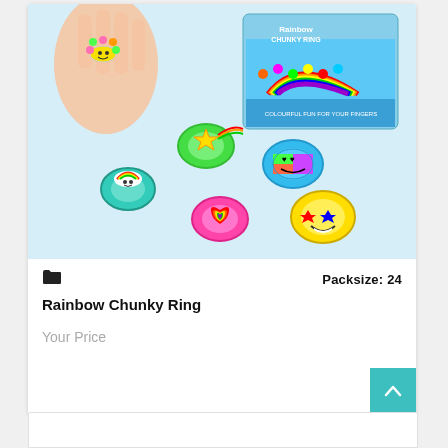[Figure (photo): Product photo of Rainbow Chunky Rings — colorful rubber rings with smiley faces, rainbows, hearts, and emoji designs, shown alongside a display box and a child's hand wearing one ring.]
Packsize: 24
Rainbow Chunky Ring
Your Price